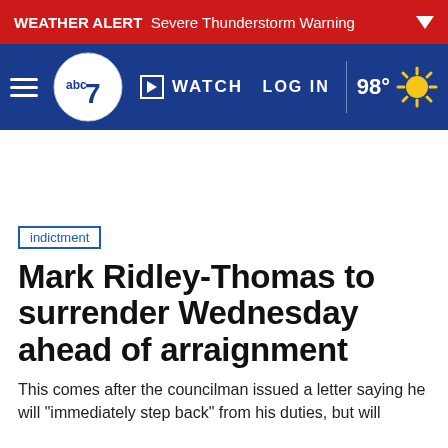WEATHER ALERT Severe Thunderstorm Warning
[Figure (screenshot): ABC7 news navigation bar with hamburger menu, ABC7 logo, WATCH button, LOG IN link, temperature 98° and sun icon]
indictment
Mark Ridley-Thomas to surrender Wednesday ahead of arraignment
This comes after the councilman issued a letter saying he will "immediately step back" from his duties, but will